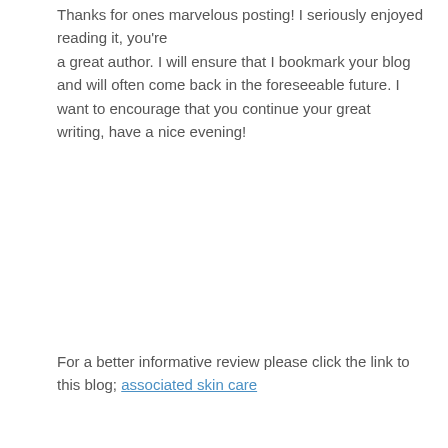Thanks for ones marvelous posting! I seriously enjoyed reading it, you're a great author. I will ensure that I bookmark your blog and will often come back in the foreseeable future. I want to encourage that you continue your great writing, have a nice evening!
For a better informative review please click the link to this blog; associated skin care
Reply ↓
racingrivalshacktool2014.wordpress.com
October 19, 2014 at 8:01 am
Wonderful goods from you, man. I've be mindful your stuff prior to and you're simply too magnificent.